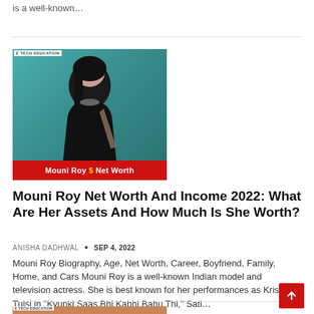is a well-known…
[Figure (photo): Photo of Mouni Roy with red banner caption reading 'Mouni Roy $ Net Worth', watermark 'E TECH EDUCATION' in top left]
Mouni Roy Net Worth And Income 2022: What Are Her Assets And How Much Is She Worth?
ANISHA DADHWAL • SEP 4, 2022
Mouni Roy Biography, Age, Net Worth, Career, Boyfriend, Family, Home, and Cars Mouni Roy is a well-known Indian model and television actress. She is best known for her performances as Krishna Tulsi in "Kyunki Saas Bhi Kabhi Bahu Thi," Sati…